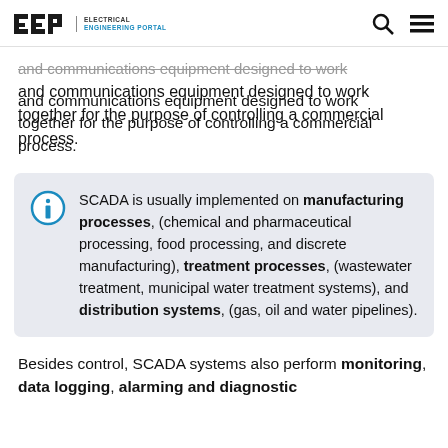EEP | ELECTRICAL ENGINEERING PORTAL
and communications equipment designed to work together for the purpose of controlling a commercial process.
SCADA is usually implemented on manufacturing processes, (chemical and pharmaceutical processing, food processing, and discrete manufacturing), treatment processes, (wastewater treatment, municipal water treatment systems), and distribution systems, (gas, oil and water pipelines).
Besides control, SCADA systems also perform monitoring, data logging, alarming and diagnostic